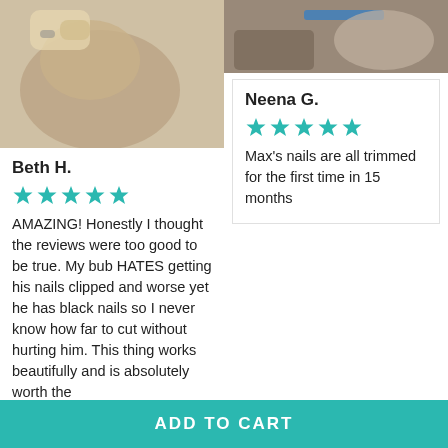[Figure (photo): Close-up photo of a dog being groomed, showing blonde/tan fur and a human hand with a ring]
Beth H.
★★★★★ (5 stars)
AMAZING! Honestly I thought the reviews were too good to be true. My bub HATES getting his nails clipped and worse yet he has black nails so I never know how far to cut without hurting him. This thing works beautifully and is absolutely worth the
[Figure (photo): Photo of a dog lying on the floor, wearing a blue harness, being groomed]
Neena G.
★★★★★ (5 stars)
Max's nails are all trimmed for the first time in 15 months
ADD TO CART